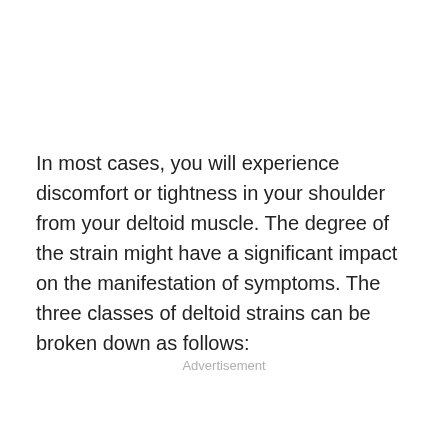In most cases, you will experience discomfort or tightness in your shoulder from your deltoid muscle. The degree of the strain might have a significant impact on the manifestation of symptoms. The three classes of deltoid strains can be broken down as follows:
Advertisement